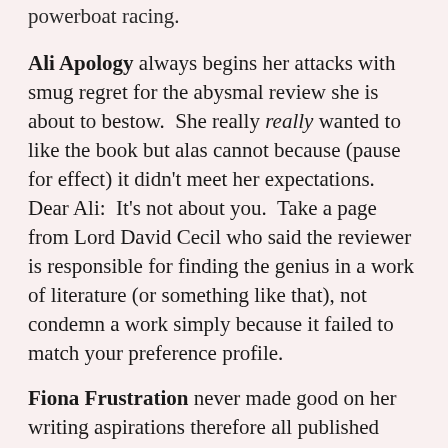powerboat racing.
Ali Apology always begins her attacks with smug regret for the abysmal review she is about to bestow. She really really wanted to like the book but alas cannot because (pause for effect) it didn't meet her expectations. Dear Ali: It's not about you. Take a page from Lord David Cecil who said the reviewer is responsible for finding the genius in a work of literature (or something like that), not condemn a work simply because it failed to match your preference profile.
Fiona Frustration never made good on her writing aspirations therefore all published books are a personal affront. She demands compensation for the hours of her life wasted reading the book under attack and invokes her one-star weapon to finish it off. She will occasionally upgrade her reviews to two stars because she thinks it gives her reviews more credibility.